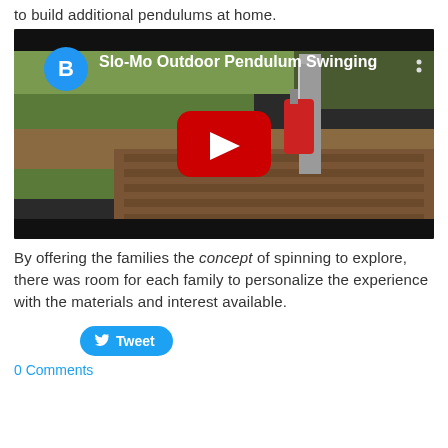to build additional pendulums at home.
[Figure (screenshot): YouTube video thumbnail showing an outdoor pendulum swinging in slow motion. The video is titled 'Slo-Mo Outdoor Pendulum Swinging' with a channel icon labeled B. A red YouTube play button is centered on the thumbnail. The image shows a wooden deck with a hanging bottle pendulum and a metal pole, with grass in the background.]
By offering the families the concept of spinning to explore, there was room for each family to personalize the experience with the materials and interest available.
Tweet
0 Comments